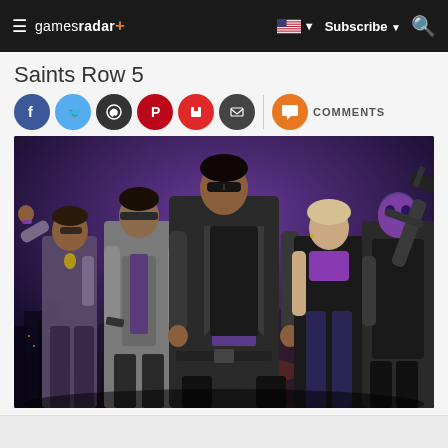gamesradar+ | Subscribe | Search
Saints Row 5
[Figure (other): Social sharing icons: Facebook (blue), Twitter (light blue), WhatsApp (dark), Pinterest (red), Flipboard (red), Email (dark), Comments (orange) with COMMENTS label]
[Figure (illustration): Saints Row promotional artwork showing five characters standing in front of a city skyline at night. Center character wears sunglasses and a black suit. Characters wear purple accents and carry weapons.]